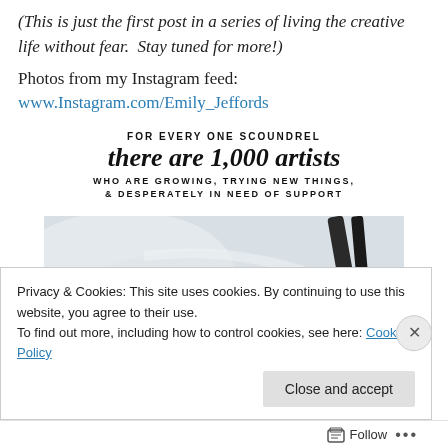(This is just the first post in a series of living the creative life without fear.  Stay tuned for more!)
Photos from my Instagram feed:
www.Instagram.com/Emily_Jeffords
[Figure (infographic): Typographic quote image: 'FOR EVERY ONE SCOUNDREL there are 1,000 artists WHO ARE GROWING, TRYING NEW THINGS, & DESPERATELY IN NEED OF SUPPORT']
[Figure (photo): Close-up photo of a paintbrush on a light gray/white painted surface]
Privacy & Cookies: This site uses cookies. By continuing to use this website, you agree to their use.
To find out more, including how to control cookies, see here: Cookie Policy
Close and accept
Follow